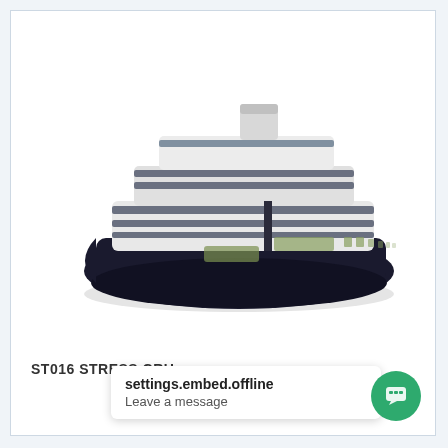[Figure (photo): A rubber stress toy in the shape of a cruise ship. The ship has a dark navy/black hull, white and grey upper decks with horizontal stripe details, small windows, and a white smokestack on top.]
ST016 STRESS CRU
settings.embed.offline
Leave a message